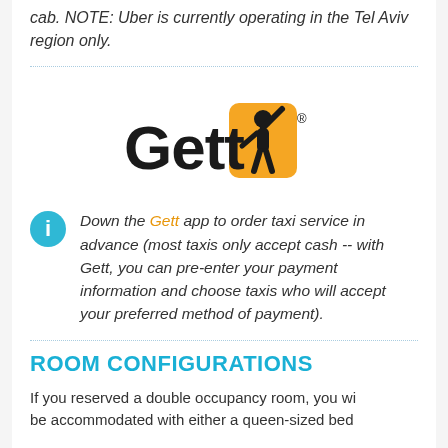cab. NOTE: Uber is currently operating in the Tel Aviv region only.
[Figure (logo): Gett logo — bold black 'Gett' text with a yellow/orange figure raising one arm, and a registered trademark symbol]
Down the Gett app to order taxi service in advance (most taxis only accept cash -- with Gett, you can pre-enter your payment information and choose taxis who will accept your preferred method of payment).
ROOM CONFIGURATIONS
If you reserved a double occupancy room, you will be accommodated with either a queen-sized bed